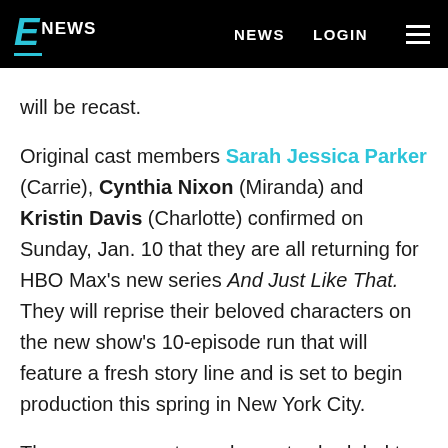E NEWS  NEWS  LOGIN
will be recast.
Original cast members Sarah Jessica Parker (Carrie), Cynthia Nixon (Miranda) and Kristin Davis (Charlotte) confirmed on Sunday, Jan. 10 that they are all returning for HBO Max's new series And Just Like That. They will reprise their beloved characters on the new show's 10-episode run that will feature a fresh story line and is set to begin production this spring in New York City.
The one core cast member not scheduled to appear is Kim Cattrall, who co-starred on the original